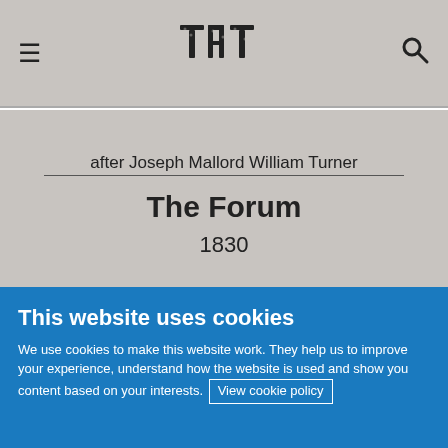TATE
after Joseph Mallord William Turner
The Forum
1830
[Figure (photo): Partial view of artwork thumbnail]
This website uses cookies
We use cookies to make this website work. They help us to improve your experience, understand how the website is used and show you content based on your interests. View cookie policy